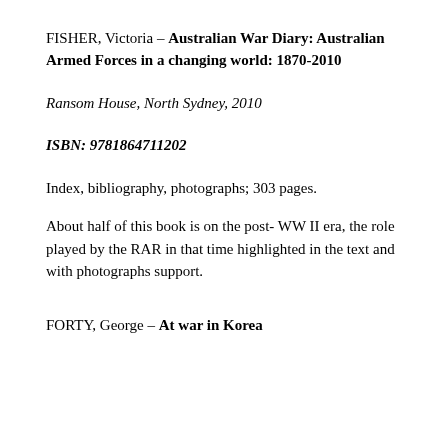FISHER, Victoria – Australian War Diary: Australian Armed Forces in a changing world: 1870-2010
Ransom House, North Sydney, 2010
ISBN: 9781864711202
Index, bibliography, photographs; 303 pages.
About half of this book is on the post- WW II era, the role played by the RAR in that time highlighted in the text and with photographs support.
FORTY, George – At war in Korea